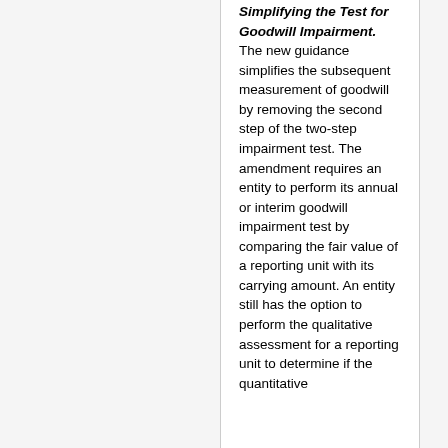Simplifying the Test for Goodwill Impairment. The new guidance simplifies the subsequent measurement of goodwill by removing the second step of the two-step impairment test. The amendment requires an entity to perform its annual or interim goodwill impairment test by comparing the fair value of a reporting unit with its carrying amount. An entity still has the option to perform the qualitative assessment for a reporting unit to determine if the quantitative